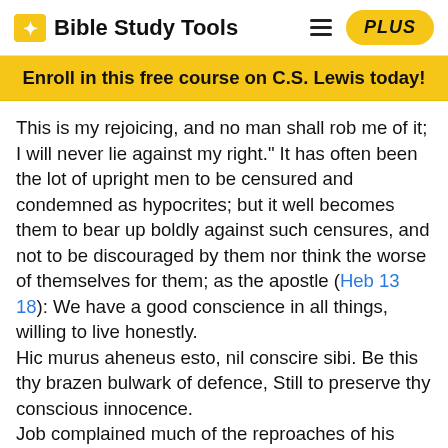Bible Study Tools | PLUS
Enroll in this free course on C.S. Lewis today!
This is my rejoicing, and no man shall rob me of it; I will never lie against my right." It has often been the lot of upright men to be censured and condemned as hypocrites; but it well becomes them to bear up boldly against such censures, and not to be discouraged by them nor think the worse of themselves for them; as the apostle (Heb 13 18): We have a good conscience in all things, willing to live honestly.
Hic murus aheneus esto, nil conscire sibi. Be this thy brazen bulwark of defence, Still to preserve thy conscious innocence.
Job complained much of the reproaches of his friends; but (says he) my heart shall not reproach me, that is, "I will never give my heart cause to reproach me, but will